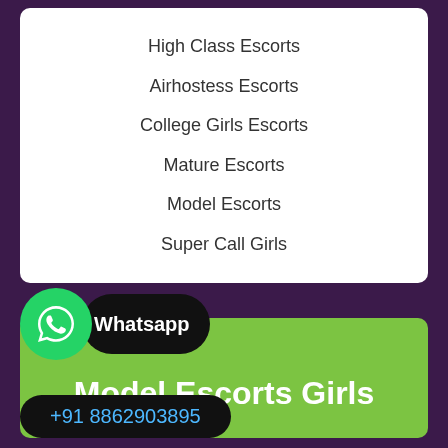High Class Escorts
Airhostess Escorts
College Girls Escorts
Mature Escorts
Model Escorts
Super Call Girls
Whatsapp
Model Escorts Girls
+91 8862903895